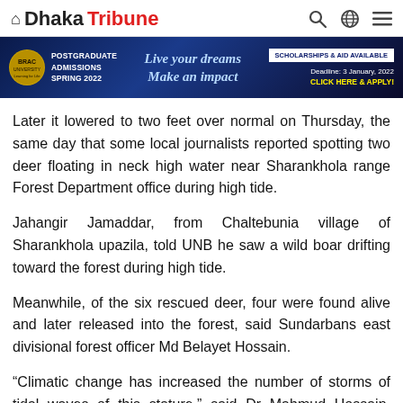Dhaka Tribune
[Figure (other): Advertisement banner for BRAC University Postgraduate Admissions Spring 2022. Text: POSTGRADUATE ADMISSIONS SPRING 2022 | Live your dreams Make an impact | SCHOLARSHIPS & AID AVAILABLE | Deadline: 3 January, 2022 | CLICK HERE & APPLY!]
Later it lowered to two feet over normal on Thursday, the same day that some local journalists reported spotting two deer floating in neck high water near Sharankhola range Forest Department office during high tide.
Jahangir Jamaddar, from Chaltebunia village of Sharankhola upazila, told UNB he saw a wild boar drifting toward the forest during high tide.
Meanwhile, of the six rescued deer, four were found alive and later released into the forest, said Sundarbans east divisional forest officer Md Belayet Hossain.
“Climatic change has increased the number of storms of tidal waves of this stature,” said Dr Mahmud Hossain, researcher and vice-chancellor of Khulna University